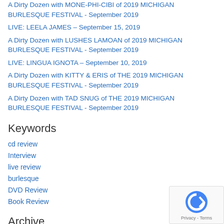A Dirty Dozen with MONE-PHI-CIBI of 2019 MICHIGAN BURLESQUE FESTIVAL - September 2019
LIVE: LEELA JAMES – September 15, 2019
A Dirty Dozen with LUSHES LAMOAN of 2019 MICHIGAN BURLESQUE FESTIVAL - September 2019
LIVE: LINGUA IGNOTA – September 10, 2019
A Dirty Dozen with KITTY & ERIS of THE 2019 MICHIGAN BURLESQUE FESTIVAL - September 2019
A Dirty Dozen with TAD SNUG of THE 2019 MICHIGAN BURLESQUE FESTIVAL - September 2019
Keywords
cd review
Interview
live review
burlesque
DVD Review
Book Review
Archive
« 2021 2022
January
February
March